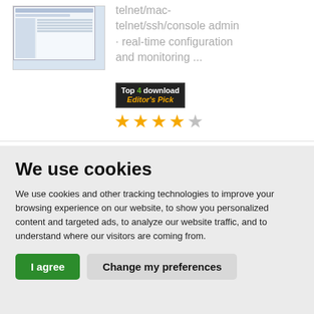[Figure (screenshot): Screenshot thumbnail of a software application window showing a web/telnet admin interface]
telnet/mac-telnet/ssh/console admin · real-time configuration and monitoring ...
[Figure (other): Top 4 download Editor's Pick badge/logo]
[Figure (other): 4 out of 5 stars rating (4 orange stars, 1 gray star)]
We use cookies
We use cookies and other tracking technologies to improve your browsing experience on our website, to show you personalized content and targeted ads, to analyze our website traffic, and to understand where our visitors are coming from.
I agree  Change my preferences